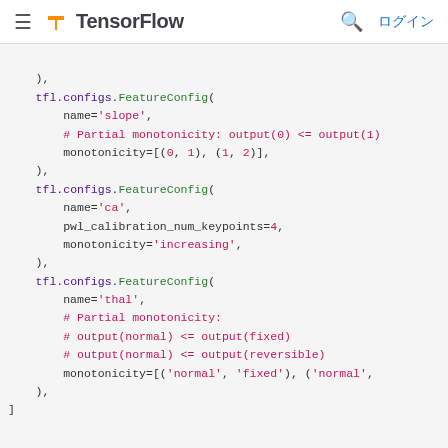TensorFlow — ログイン
Python code snippet showing TensorFlow Lattice FeatureConfig configurations with monotonicity constraints for slope, ca, and thal features.